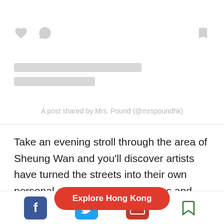[Figure (screenshot): Social media post embed placeholder with heart, comment, and bookmark icons and two grey placeholder lines. Attribution: A post shared by Mrs. Pound (@mrspoundhk)]
A post shared by Mrs. Pound (@mrspoundhk)
Take an evening stroll through the area of Sheung Wan and you'll discover artists have turned the streets into their own personal canvass. Many buildings and alleyways are adorned with brilliant, vibrant images that are as exciting as any Hong Kong art gallery. The artwork is wide-ranging from the bold to the ordinary, but it
[Figure (infographic): Red pill-shaped button reading 'Explore Hong Kong']
[Figure (infographic): Bottom share bar with Facebook, Twitter, email, and bookmark icons]